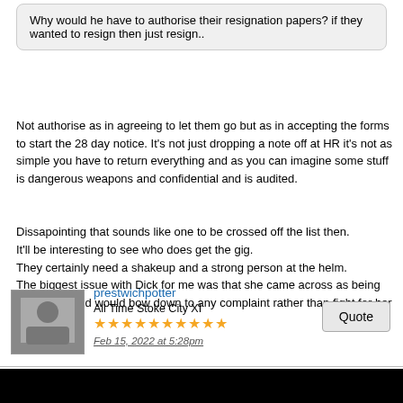Why would he have to authorise their resignation papers? if they wanted to resign then just resign..
Not authorise as in agreeing to let them go but as in accepting the forms to start the 28 day notice. It's not just dropping a note off at HR it's not as simple you have to return everything and as you can imagine some stuff is dangerous weapons and confidential and is audited.
Dissapointing that sounds like one to be crossed off the list then.
It'll be interesting to see who does get the gig.
They certainly need a shakeup and a strong person at the helm.
The biggest issue with Dick for me was that she came across as being very weak and would bow down to any complaint rather than fight for her colleagues.
prestwichpotter
All Time Stoke City XI
★★★★★★★★★★
Feb 15, 2022 at 5:28pm